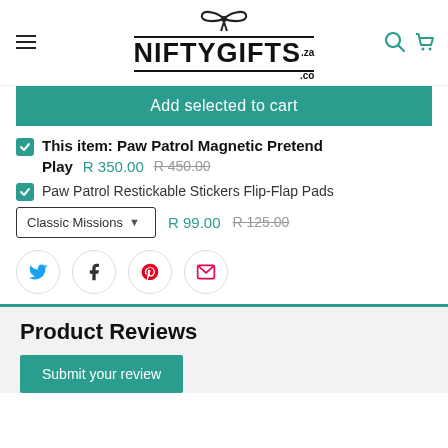NIFTYGIFTS.co.za
Add selected to cart
This item: Paw Patrol Magnetic Pretend Play  R 350.00  R 450.00
Paw Patrol Restickable Stickers Flip-Flap Pads
Classic Missions  R 99.00  R 125.00
[Figure (infographic): Social share icons: Twitter (blue), Facebook (dark), Pinterest (red), Email (red-orange) in circular borders]
Product Reviews
Submit your review